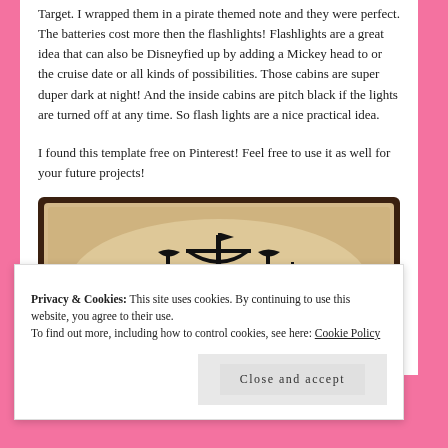Target. I wrapped them in a pirate themed note and they were perfect. The batteries cost more then the flashlights! Flashlights are a great idea that can also be Disneyfied up by adding a Mickey head to or the cruise date or all kinds of possibilities. Those cabins are super duper dark at night! And the inside cabins are pitch black if the lights are turned off at any time. So flash lights are a nice practical idea.
I found this template free on Pinterest! Feel free to use it as well for your future projects!
[Figure (illustration): A pirate ship silhouette stencil on aged parchment paper background with dark brown border. The ship has multiple sails in black silhouette style.]
Privacy & Cookies: This site uses cookies. By continuing to use this website, you agree to their use. To find out more, including how to control cookies, see here: Cookie Policy